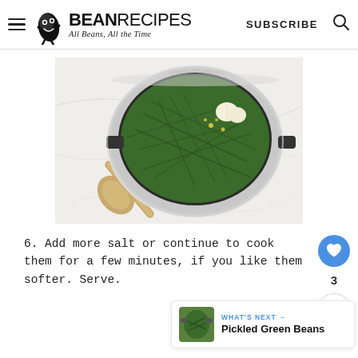BEAN RECIPES — All Beans, All the Time | SUBSCRIBE
[Figure (photo): Overhead view of a stainless steel pot filled with green beans, garlic cloves, and yellow seasoning, with a wooden spoon beside it on a marble surface.]
6. Add more salt or continue to cook them for a few minutes, if you like them softer. Serve.
WHAT'S NEXT → Pickled Green Beans